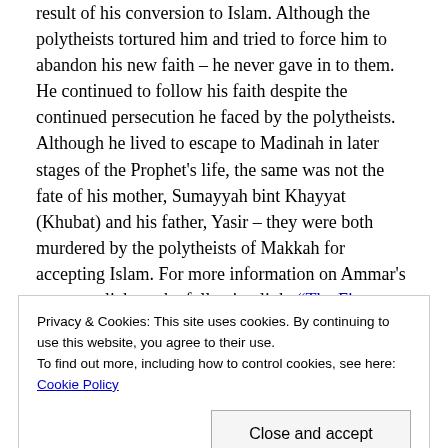result of his conversion to Islam. Although the polytheists tortured him and tried to force him to abandon his new faith – he never gave in to them. He continued to follow his faith despite the continued persecution he faced by the polytheists. Although he lived to escape to Madinah in later stages of the Prophet's life, the same was not the fate of his mother, Sumayyah bint Khayyat (Khubat) and his father, Yasir – they were both murdered by the polytheists of Makkah for accepting Islam. For more information on Ammar's parents, click on the following link: "The First Martyrs Of Islam: Sumayya Bint Khubat And Yasir"
Privacy & Cookies: This site uses cookies. By continuing to use this website, you agree to their use.
To find out more, including how to control cookies, see here: Cookie Policy
Close and accept